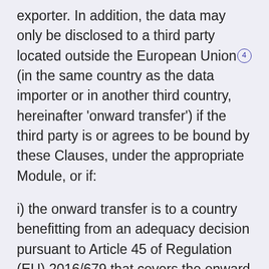exporter. In addition, the data may only be disclosed to a third party located outside the European Union (4) (in the same country as the data importer or in another third country, hereinafter 'onward transfer') if the third party is or agrees to be bound by these Clauses, under the appropriate Module, or if:
i) the onward transfer is to a country benefitting from an adequacy decision pursuant to Article 45 of Regulation (EU) 2016/679 that covers the onward transfer;
ii) the third party otherwise ensures